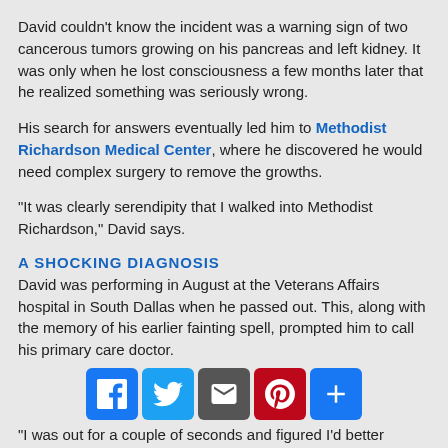David couldn't know the incident was a warning sign of two cancerous tumors growing on his pancreas and left kidney. It was only when he lost consciousness a few months later that he realized something was seriously wrong.
His search for answers eventually led him to Methodist Richardson Medical Center, where he discovered he would need complex surgery to remove the growths.
“It was clearly serendipity that I walked into Methodist Richardson,” David says.
A SHOCKING DIAGNOSIS
David was performing in August at the Veterans Affairs hospital in South Dallas when he passed out. This, along with the memory of his earlier fainting spell, prompted him to call his primary care doctor.
“I was out for a couple of seconds and figured I’d better